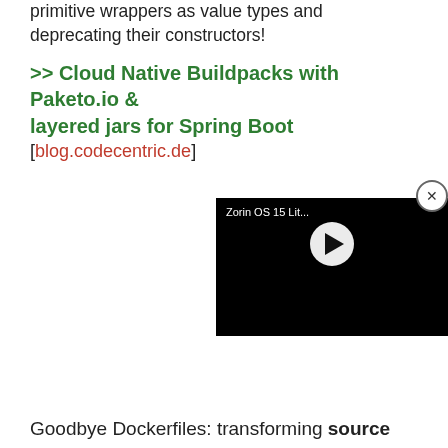primitive wrappers as value types and deprecating their constructors!
>> Cloud Native Buildpacks with Paketo.io & layered jars for Spring Boot
[blog.codecentric.de]
[Figure (screenshot): Video widget showing 'Zorin OS 15 Lit...' with a play button on a black background, and a close (X) button in the top-right corner.]
Goodbye Dockerfiles: transforming source